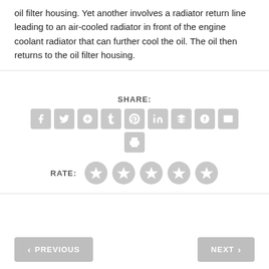oil filter housing. Yet another involves a radiator return line leading to an air-cooled radiator in front of the engine coolant radiator that can further cool the oil. The oil then returns to the oil filter housing.
SHARE:
[Figure (infographic): Social share icons: Facebook, Twitter, Google+, Tumblr, Pinterest, LinkedIn, Buffer, StumbleUpon, Email, Print]
RATE:
[Figure (infographic): Five star rating icons (all empty/grey stars)]
< PREVIOUS
NEXT >